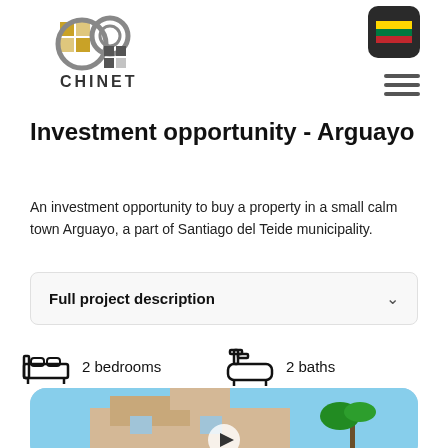[Figure (logo): CHINET logo with interlocking circular/grid design in gold and grey]
[Figure (other): Lithuanian flag button (dark rounded square) top right corner]
[Figure (other): Hamburger menu icon (three horizontal lines) top right]
Investment opportunity - Arguayo
An investment opportunity to buy a property in a small calm town Arguayo, a part of Santiago del Teide municipality.
Full project description
2 bedrooms
2 baths
[Figure (photo): Modern white/tan house with blue sky and palm tree, video play button overlay, rounded corners]